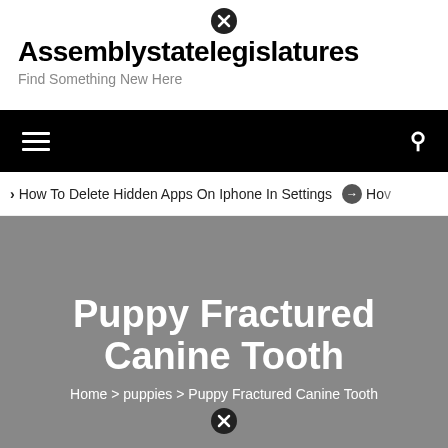Assemblystatelegislatures
Find Something New Here
How To Delete Hidden Apps On Iphone In Settings   How...
Puppy Fractured Canine Tooth
Home > puppies > Puppy Fractured Canine Tooth